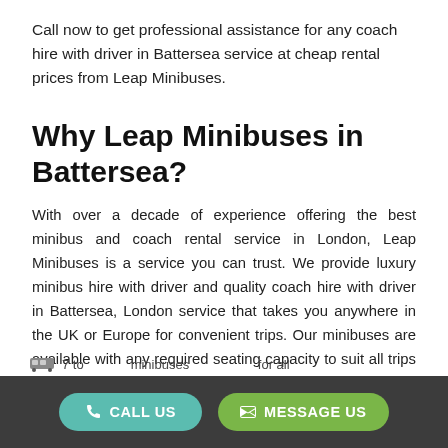Call now to get professional assistance for any coach hire with driver in Battersea service at cheap rental prices from Leap Minibuses.
Why Leap Minibuses in Battersea?
With over a decade of experience offering the best minibus and coach rental service in London, Leap Minibuses is a service you can trust. We provide luxury minibus hire with driver and quality coach hire with driver in Battersea, London service that takes you anywhere in the UK or Europe for convenient trips. Our minibuses are available with any required seating capacity to suit all trips and tours from Battersea. We offer:
7 to ... minibuses ... for all